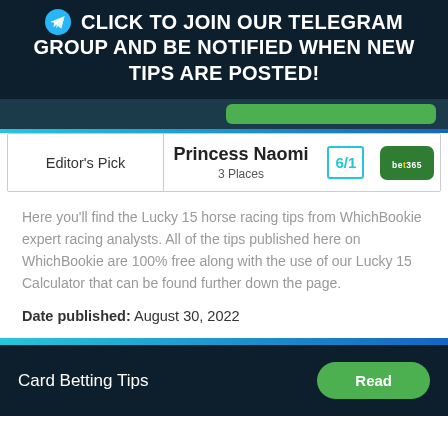CLICK TO JOIN OUR TELEGRAM GROUP AND BE NOTIFIED WHEN NEW TIPS ARE POSTED!
| Editor's Pick | Horse | Odds | Bookie |
| --- | --- | --- | --- |
| Editor's Pick | Princess Naomi
3 Places | 6/1 | bet365 |
Here you’ll find the Lucky 15 horse racing tips from WhichBookie expert racing analysts. All of the tips published here on WhichBookie are 100% free along with the use of our Lucky 15 Calculator that can be found further down the page.
Date published: August 30, 2022
Card Betting Tips  Read